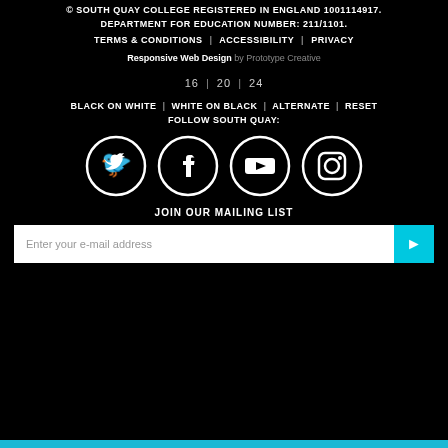© SOUTH QUAY COLLEGE REGISTERED IN ENGLAND 1001114917. DEPARTMENT FOR EDUCATION NUMBER: 211/1101.
TERMS & CONDITIONS | ACCESSIBILITY | PRIVACY
Responsive Web Design by Prototype Creative
16 | 20 | 24
BLACK ON WHITE | WHITE ON BLACK | ALTERNATE | RESET
FOLLOW SOUTH QUAY:
[Figure (illustration): Four social media icons in white circles on black background: Twitter bird, Facebook f, YouTube play button, Instagram camera]
JOIN OUR MAILING LIST
Enter your e-mail address